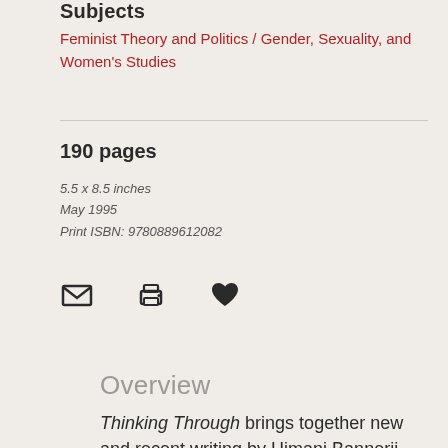Subjects
Feminist Theory and Politics / Gender, Sexuality, and Women's Studies
190 pages
5.5 x 8.5 inches
May 1995
Print ISBN: 9780889612082
[Figure (infographic): Three icons: envelope (email), printer (print), and heart (save/favorite)]
Overview
Thinking Through brings together new and recent writing by Himani Bannerji. Through